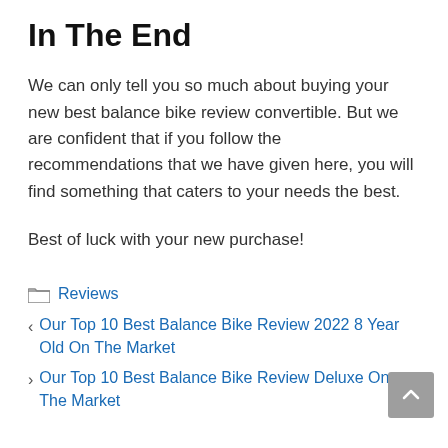In The End
We can only tell you so much about buying your new best balance bike review convertible. But we are confident that if you follow the recommendations that we have given here, you will find something that caters to your needs the best.
Best of luck with your new purchase!
Reviews
Our Top 10 Best Balance Bike Review 2022 8 Year Old On The Market
Our Top 10 Best Balance Bike Review Deluxe On The Market